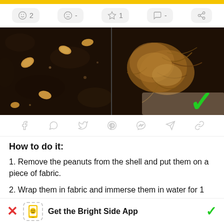[Figure (screenshot): Yellow top bar, reaction buttons row with emoji icons: smiley 2, sad -, star 1, chat -, share -]
[Figure (photo): Two side-by-side photos: left shows peanuts/seeds in dark soil, right shows peanut plant roots with a green checkmark overlay]
[Figure (infographic): Social share icons: Facebook, WhatsApp, Twitter, Pinterest, Messenger, Telegram, link]
How to do it:
1. Remove the peanuts from the shell and put them on a piece of fabric.
2. Wrap them in fabric and immerse them in water for 1 hour.
[Figure (infographic): App download banner: red X, phone icon with smiley, Get the Bright Side App text, green checkmark]